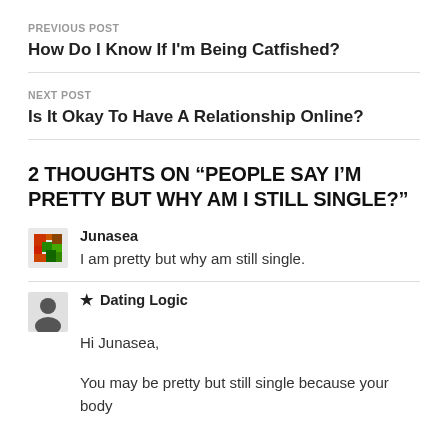PREVIOUS POST
How Do I Know If I'm Being Catfished?
NEXT POST
Is It Okay To Have A Relationship Online?
2 THOUGHTS ON “PEOPLE SAY I’M PRETTY BUT WHY AM I STILL SINGLE?”
Junasea
I am pretty but why am still single.
★ Dating Logic
Hi Junasea,

You may be pretty but still single because your body language may be sending the wrong signals.